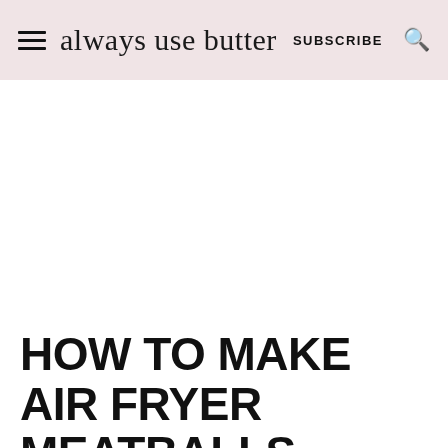always use butter  SUBSCRIBE
HOW TO MAKE AIR FRYER MEATBALLS
[Figure (photo): Partial view of meatballs at the bottom of the page]